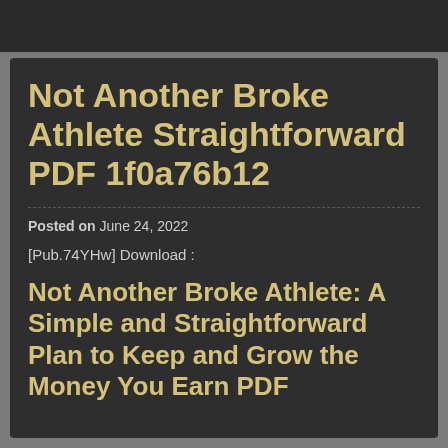Not Another Broke Athlete Straightforward PDF 1f0a76b12
Posted on  June 24, 2022
[Pub.74YHw] Download :
Not Another Broke Athlete: A Simple and Straightforward Plan to Keep and Grow the Money You Earn PDF